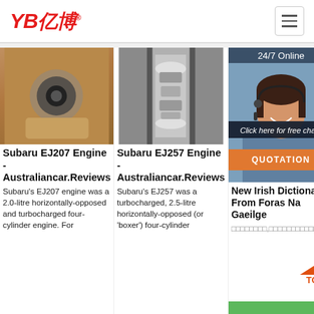YB亿博® — navigation header with hamburger menu
[Figure (photo): Hand holding a rubber hose end — product photo]
[Figure (photo): Close-up of a metallic cylindrical engine part with etched surface]
[Figure (photo): Customer service representative with headset, smiling. Overlay: 24/7 Online banner, Click here for free chat!, QUOTATION button]
Subaru EJ207 Engine - Australiancar.Reviews
Subaru EJ257 Engine - Australiancar.Reviews
New Irish Dictionary From Foras Na Gaeilge
Subaru's EJ207 engine was a 2.0-litre horizontally-opposed and turbocharged four-cylinder engine. For
Subaru's EJ257 was a turbocharged, 2.5-litre horizontally-opposed (or 'boxer') four-cylinder
□□□□□□□□,□□□□□□□□□□□